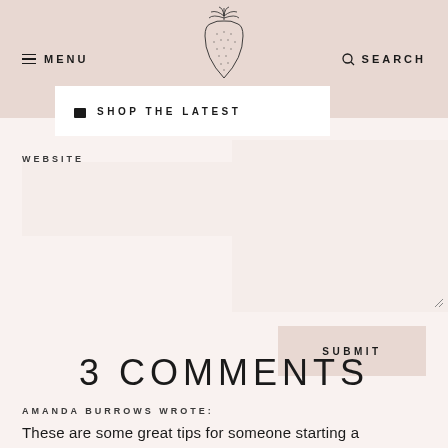≡ MENU   [strawberry logo]   🔍 SEARCH
🛍 SHOP THE LATEST
WEBSITE
SUBMIT
3 COMMENTS
AMANDA BURROWS WROTE:
These are some great tips for someone starting a